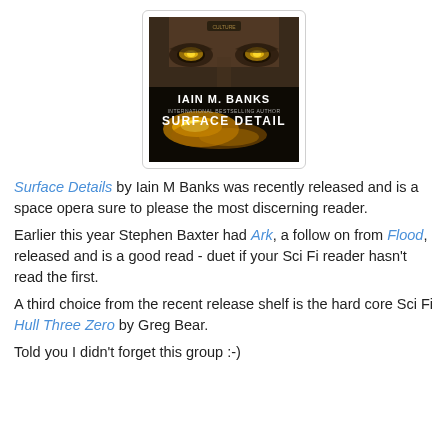[Figure (photo): Book cover of 'Surface Detail' by Iain M. Banks, showing a close-up of golden eyes and 'IAIN M. BANKS / SURFACE DETAIL' text on a dark dramatic background with golden light effects.]
Surface Details by Iain M Banks was recently released and is a space opera sure to please the most discerning reader.
Earlier this year Stephen Baxter had Ark, a follow on from Flood, released and is a good read - duet if your Sci Fi reader hasn't read the first.
A third choice from the recent release shelf is the hard core Sci Fi Hull Three Zero by Greg Bear.
Told you I didn't forget this group :-)